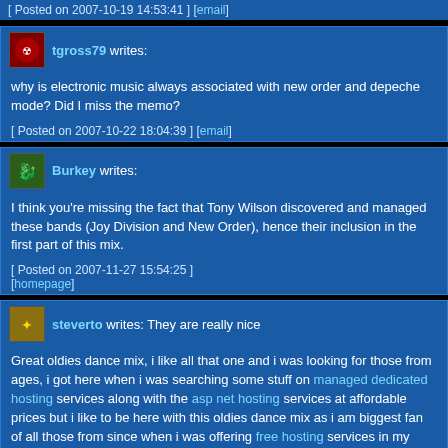[ Posted on 2007-10-19 14:53:41 ] [email]
tgross79 writes:
why is electronic music always associated with new order and depeche mode? Did I miss the memo?
[ Posted on 2007-10-22 18:04:39 ] [email]
Burkey writes:
I think you're missing the fact that Tony Wilson discovered and managed these bands (Joy Division and New Order), hence their inclusion in the first part of this mix.
[ Posted on 2007-11-27 15:54:25 ] [homepage]
steverto writes: They are really nice
Great oldies dance mix, i like all that one and i was looking for those from ages, i got here when i was searching some stuff on managed dedicated hosting services along with the asp net hosting services at affordable prices but i like to be here with this oldies dance mix as i am biggest fan of all those from since when i was offering free hosting services in my area, i would be here to share some more cool information.
[ Posted on 2009-08-03 12:40:30 ] [email]
You must be logged in to rate and comment mixes.